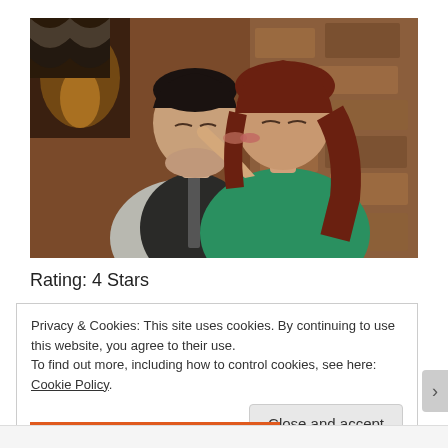[Figure (photo): A man and woman kissing closely; the woman wears a green top and has auburn hair; the man wears a dark vest and grey shirt; warm indoor lighting with stone wall in background]
Rating: 4 Stars
Privacy & Cookies: This site uses cookies. By continuing to use this website, you agree to their use.
To find out more, including how to control cookies, see here: Cookie Policy
Close and accept